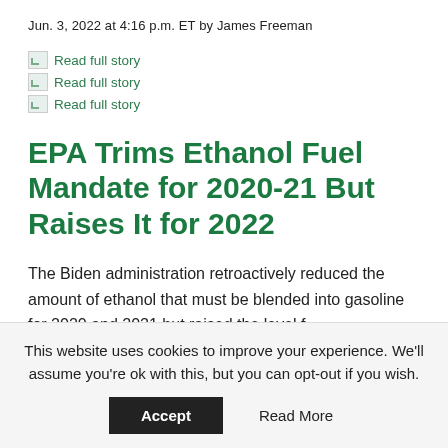Jun. 3, 2022 at 4:16 p.m. ET by James Freeman
[Figure (other): Broken image icon with Read full story link]
[Figure (other): Broken image icon with Read full story link]
[Figure (other): Broken image icon with Read full story link]
EPA Trims Ethanol Fuel Mandate for 2020-21 But Raises It for 2022
The Biden administration retroactively reduced the amount of ethanol that must be blended into gasoline for 2020 and 2021 but raised the level for...
This website uses cookies to improve your experience. We'll assume you're ok with this, but you can opt-out if you wish.